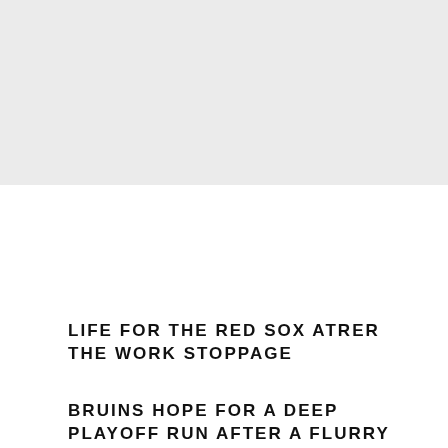[Figure (other): Gray banner/image placeholder at the top of the page]
LIFE FOR THE RED SOX ATRER THE WORK STOPPAGE
BRUINS HOPE FOR A DEEP PLAYOFF RUN AFTER A FLURRY OF ACTIVITY